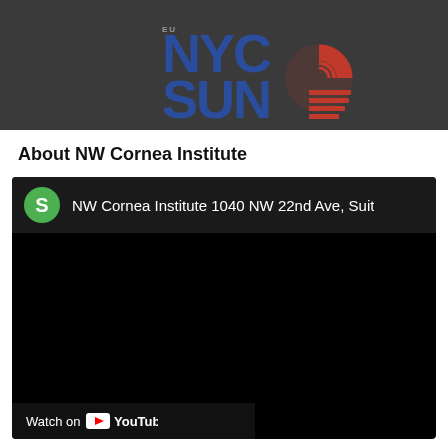[Figure (logo): NYC SUN logo with blue stacked text and red circular graphic on dark background]
About NW Cornea Institute
[Figure (screenshot): Embedded YouTube video player showing NW Cornea Institute 1040 NW 22nd Ave, Suit... with green S avatar icon, black video area, and Watch on YouTube bar at bottom]